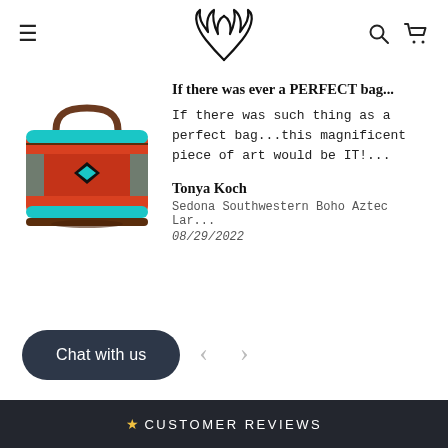≡ [antler logo] 🔍 🛒
[Figure (illustration): A colorful Southwestern/Aztec-patterned large duffel bag in red, teal and black with brown leather handles]
If there was ever a PERFECT bag...
If there was such thing as a perfect bag...this magnificent piece of art would be IT!...
Tonya Koch
Sedona Southwestern Boho Aztec Lar...
08/29/2022
[Figure (other): Left and right navigation chevron arrows for cycling through reviews]
Chat with us
★ CUSTOMER REVIEWS